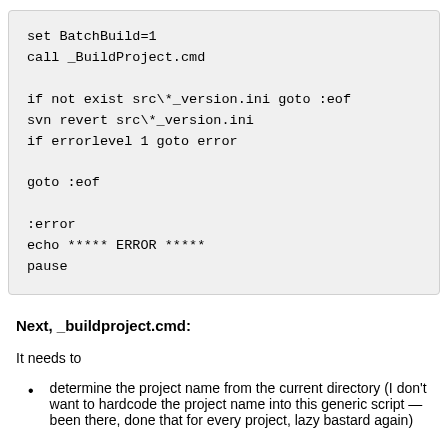set BatchBuild=1
call _BuildProject.cmd

if not exist src\*_version.ini goto :eof
svn revert src\*_version.ini
if errorlevel 1 goto error

goto :eof

:error
echo ***** ERROR *****
pause
Next, _buildproject.cmd:
It needs to
determine the project name from the current directory (I don't want to hardcode the project name into this generic script — been there, done that for every project, lazy bastard again)